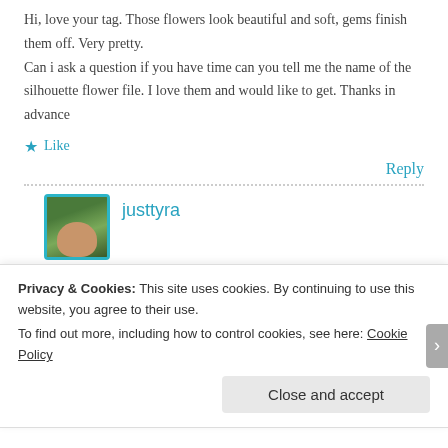Hi, love your tag. Those flowers look beautiful and soft, gems finish them off. Very pretty.
Can i ask a question if you have time can you tell me the name of the silhouette flower file. I love them and would like to get. Thanks in advance
★ Like
Reply
[Figure (photo): Avatar photo of user justtyra showing a person in a green outdoor setting, with teal border]
justtyra
Privacy & Cookies: This site uses cookies. By continuing to use this website, you agree to their use.
To find out more, including how to control cookies, see here: Cookie Policy
Close and accept